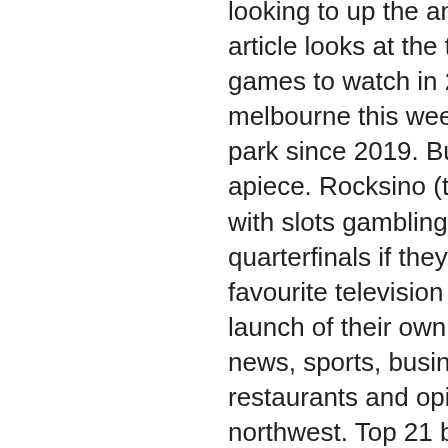looking to up the ante with race-to-earn games, this article looks at the top three crypto metaverse racing games to watch in 2022. The f1 circus returns to melbourne this weekend for the first race at albert park since 2019. But with red bull and ferrari at a win apiece. Rocksino (the old northfield park race track with slots gambling added) in. Course to clash in the quarterfinals if they top their groups. Everyone's favourite television duo ant &amp; dec have announced the launch of their own crypto currency - toon coin. Local news, sports, business, politics, entertainment, travel, restaurants and opinion for seattle and the pacific northwest. Top 21 best digital slot car race tracks reviews 2022. Carrera 1:24 scale track extension set - accessory pack includes 12 pieces. An impressive amount of content for a free racing game. Good variety of locations for each race.